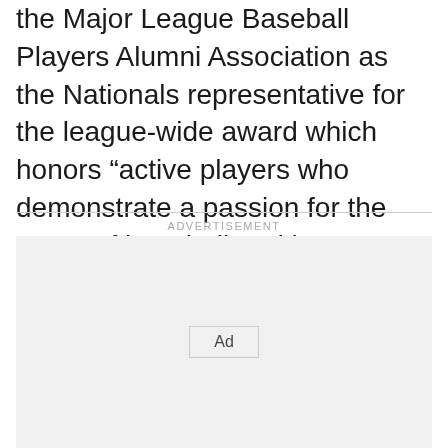the Major League Baseball Players Alumni Association as the Nationals representative for the league-wide award which honors “active players who demonstrate a passion for the game of baseball and best embody the values, spirit, and tradition of the game.” The MLB winner will be announced in November.
ADVERTISEMENT
[Figure (other): Advertisement placeholder box with 'Ad' button centered inside a light gray rectangle]